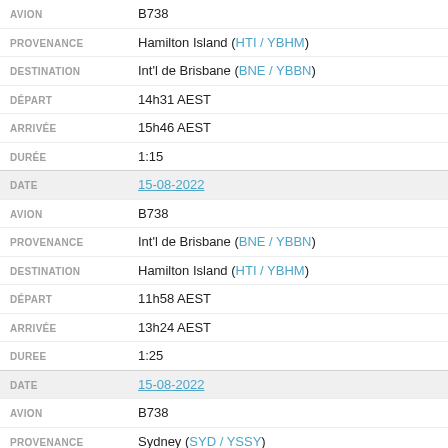| Field | Value |
| --- | --- |
| AVION | B738 |
| PROVENANCE | Hamilton Island (HTI / YBHM) |
| DESTINATION | Int'l de Brisbane (BNE / YBBN) |
| DÉPART | 14h31 AEST |
| ARRIVÉE | 15h46 AEST |
| DURÉE | 1:15 |
| DATE | 15-08-2022 |
| AVION | B738 |
| PROVENANCE | Int'l de Brisbane (BNE / YBBN) |
| DESTINATION | Hamilton Island (HTI / YBHM) |
| DÉPART | 11h58 AEST |
| ARRIVÉE | 13h24 AEST |
| DURÉE | 1:25 |
| DATE | 15-08-2022 |
| AVION | B738 |
| PROVENANCE | Sydney (SYD / YSSY) |
| DESTINATION | Int'l de Brisbane (BNE / YBBN) |
| DÉPART | 09h30 AEST |
| ARRIVÉE | 10h40 AEST |
| DURÉE | 1:09 |